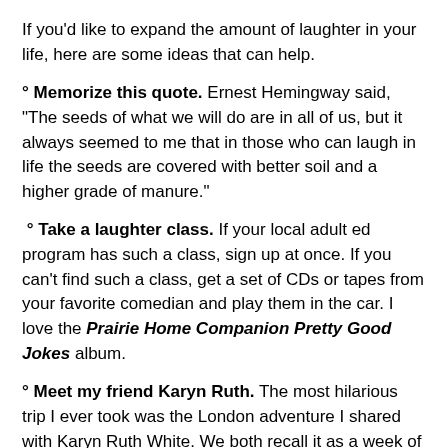If you'd like to expand the amount of laughter in your life, here are some ideas that can help.
° Memorize this quote. Ernest Hemingway said, "The seeds of what we will do are in all of us, but it always seemed to me that in those who can laugh in life the seeds are covered with better soil and a higher grade of manure."
° Take a laughter class. If your local adult ed program has such a class, sign up at once. If you can't find such a class, get a set of CDs or tapes from your favorite comedian and play them in the car. I love the Prairie Home Companion Pretty Good Jokes album.
° Meet my friend Karyn Ruth. The most hilarious trip I ever took was the London adventure I shared with Karyn Ruth White. We both recall it as a week of nonstop laughter. If she's not available to accompany you on a trip, order her video Laughing in the Face of